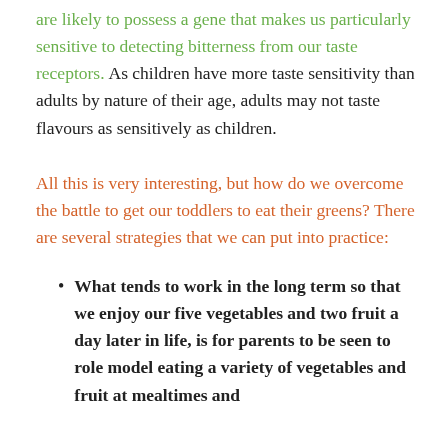are likely to possess a gene that makes us particularly sensitive to detecting bitterness from our taste receptors. As children have more taste sensitivity than adults by nature of their age, adults may not taste flavours as sensitively as children.
All this is very interesting, but how do we overcome the battle to get our toddlers to eat their greens? There are several strategies that we can put into practice:
What tends to work in the long term so that we enjoy our five vegetables and two fruit a day later in life, is for parents to be seen to role model eating a variety of vegetables and fruit at mealtimes and